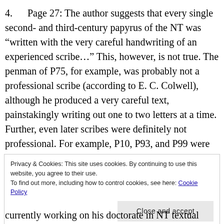4. Page 27: The author suggests that every single second- and third-century papyrus of the NT was "written with the very careful handwriting of an experienced scribe…" This, however, is not true. The penman of P75, for example, was probably not a professional scribe (according to E. C. Colwell), although he produced a very careful text, painstakingly writing out one to two letters at a time. Further, even later scribes were definitely not professional. For example, P10, P93, and P99 were either done for private use or were perhaps schoolboy exercises. I pointed out in one of my
Privacy & Cookies: This site uses cookies. By continuing to use this website, you agree to their use.
To find out more, including how to control cookies, see here: Cookie Policy
Close and accept
currently working on his doctorate in NT textual